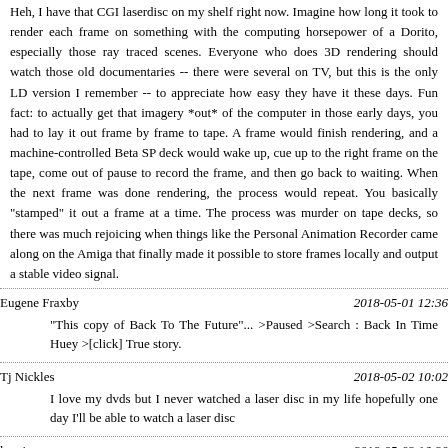Heh, I have that CGI laserdisc on my shelf right now. Imagine how long it took to render each frame on something with the computing horsepower of a Dorito, especially those ray traced scenes. Everyone who does 3D rendering should watch those old documentaries -- there were several on TV, but this is the only LD version I remember -- to appreciate how easy they have it these days. Fun fact: to actually get that imagery *out* of the computer in those early days, you had to lay it out frame by frame to tape. A frame would finish rendering, and a machine-controlled Beta SP deck would wake up, cue up to the right frame on the tape, come out of pause to record the frame, and then go back to waiting. When the next frame was done rendering, the process would repeat. You basically "stamped" it out a frame at a time. The process was murder on tape decks, so there was much rejoicing when things like the Personal Animation Recorder came along on the Amiga that finally made it possible to store frames locally and output a stable video signal.
Eugene Fraxby
2018-05-01 12:36
"This copy of Back To The Future"... >Paused >Search : Back In Time Huey >[click] True story.
Tj Nickles
2018-05-02 10:02
I love my dvds but I never watched a laser disc in my life hopefully one day I'll be able to watch a laser disc
kami
2018-05-03 16:30
I'm wondering why the double sided player couldn't just elevate the laser above and under the disc and use a 90 degree mirror assembly to read them instead.